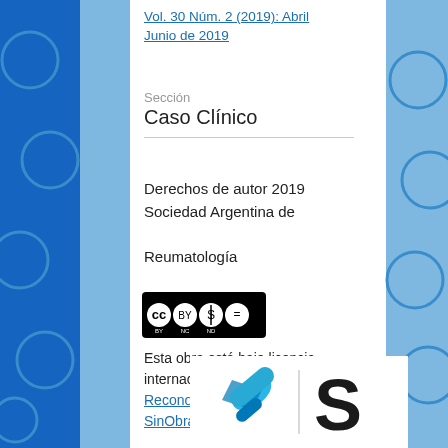Vol. 30 Núm. 2 (2019): Abril Junio de 2019
Sección
Caso Clínico
Derechos de autor 2019 Sociedad Argentina de Reumatología
[Figure (logo): Creative Commons BY NC ND license badge]
Esta obra está bajo licencia internacional Creative Commons Reconocimiento-NoComercial-SinObrasDerivadas 4.0.
[Figure (logo): Scielo or publisher logo with blue pill/capsule icon and large S letter]